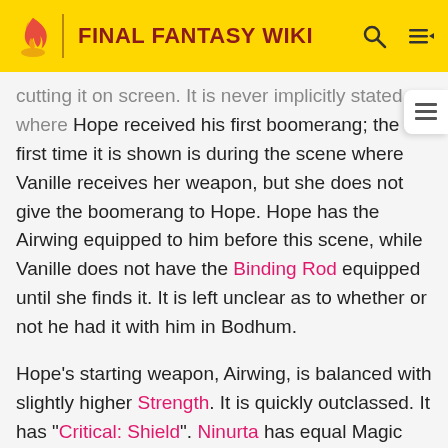FINAL FANTASY WIKI
cutting it on screen. It is never implicitly stated where Hope received his first boomerang; the first time it is shown is during the scene where Vanille receives her weapon, but she does not give the boomerang to Hope. Hope has the Airwing equipped to him before this scene, while Vanille does not have the Binding Rod equipped until she finds it. It is left unclear as to whether or not he had it with him in Bodhum.
Hope's starting weapon, Airwing, is balanced with slightly higher Strength. It is quickly outclassed. It has "Critical: Shield". Ninurta has equal Magic and Strength, and has "Physical Wall". Hope, however, does not need balanced stats as he is geared toward Magic use in the roles he is most proficient in. With Ninurta Hope is still going to have